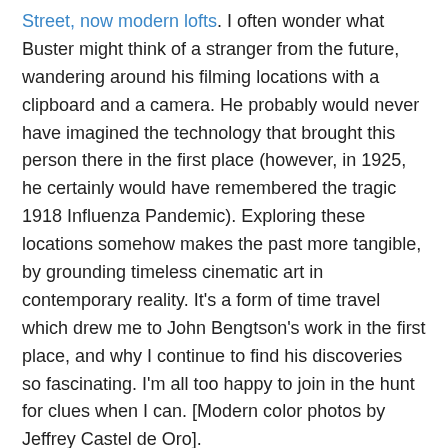Above, three views of the Scott-Don Building on 7th Street, now modern lofts. I often wonder what Buster might think of a stranger from the future, wandering around his filming locations with a clipboard and a camera. He probably would never have imagined the technology that brought this person there in the first place (however, in 1925, he certainly would have remembered the tragic 1918 Influenza Pandemic). Exploring these locations somehow makes the past more tangible, by grounding timeless cinematic art in contemporary reality. It's a form of time travel which drew me to John Bengtson's work in the first place, and why I continue to find his discoveries so fascinating. I'm all too happy to join in the hunt for clues when I can. [Modern color photos by Jeffrey Castel de Oro].
Thank you so much Jeff for sharing where and how you